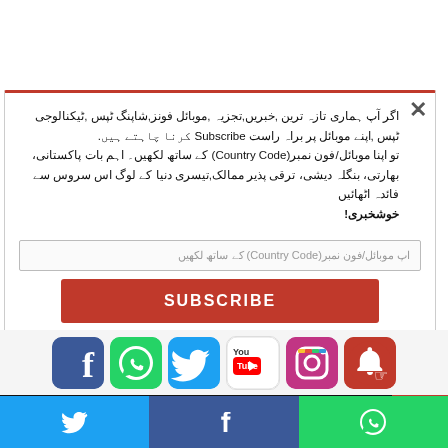اگر آپ ہماری تازہ ترین ,خبریں,تجزیہ ,موبائل فونز,شاپنگ ٹپس ,ٹیکنالوجی ٹپس ,اپنے موبائل پر براہ راست Subscribe کرنا چاہتے ہیں تو اپنا موبائل/فون نمبر(Country Code) کے ساتھ لکھیں۔ اہم بات پاکستانی, بھارتی, بنگلہ دیشی,تیسری دنیا کے لوگ اس سروس سے خوشخبری!
اپ موبائل/فون نمبر(Country Code) کے ساتھ لکھیں
[Figure (screenshot): SUBSCRIBE button in red]
[Figure (infographic): Social media icons row: Facebook, WhatsApp, Twitter, YouTube, Instagram, Bell notification]
[Figure (infographic): Telegram banner: Click Here To Join Telegram Channel]
[Figure (infographic): Bottom share bar with Twitter, Facebook, WhatsApp icons]